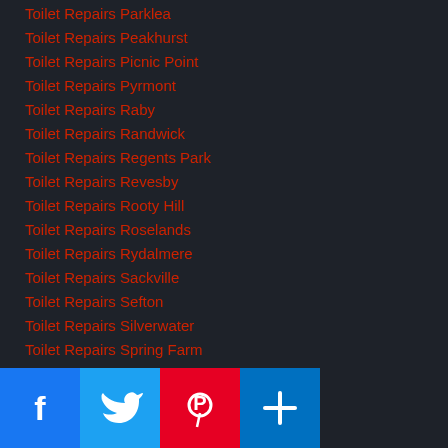Toilet Repairs Parklea
Toilet Repairs Peakhurst
Toilet Repairs Picnic Point
Toilet Repairs Pyrmont
Toilet Repairs Raby
Toilet Repairs Randwick
Toilet Repairs Regents Park
Toilet Repairs Revesby
Toilet Repairs Rooty Hill
Toilet Repairs Roselands
Toilet Repairs Rydalmere
Toilet Repairs Sackville
Toilet Repairs Sefton
Toilet Repairs Silverwater
Toilet Repairs Spring Farm
Toilet Repairs St Andrews
Toilet Repairs Sutherland
Toilet Repairs The Ponds